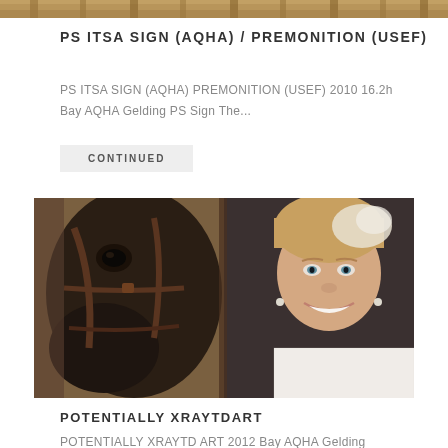[Figure (photo): Partial view of wooden stable or barn structure at the top of the page, cropped strip]
PS ITSA SIGN (AQHA) / PREMONITION (USEF)
PS ITSA SIGN (AQHA) PREMONITION (USEF) 2010 16.2h Bay AQHA Gelding PS Sign The...
CONTINUED
[Figure (photo): Photo of a dark brown/black horse head with bridle next to a smiling blonde woman in a white lace dress and floral headpiece, appearing to be at a stable]
POTENTIALLY XRAYTDART
POTENTIALLY XRAYTD ART 2012 Bay AQHA Gelding